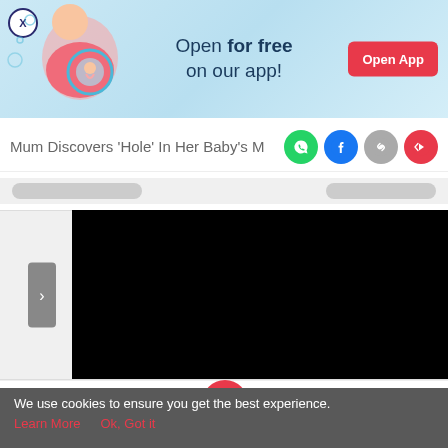[Figure (illustration): App promotion banner with pregnant woman illustration on left, text 'Open for free on our app!' in center, and red 'Open App' button on right. X close button in top-left corner.]
Mum Discovers 'Hole' In Her Baby's M
[Figure (screenshot): Navigation breadcrumb placeholder pills (grey rounded rectangles) on light grey background row]
[Figure (screenshot): Content area with grey left navigation arrow and large black video/content block on right]
[Figure (screenshot): Bottom navigation bar with Tools, Articles, Home (pink circle with pregnant woman icon), Feed, and Poll icons]
We use cookies to ensure you get the best experience.
Learn More    Ok, Got it